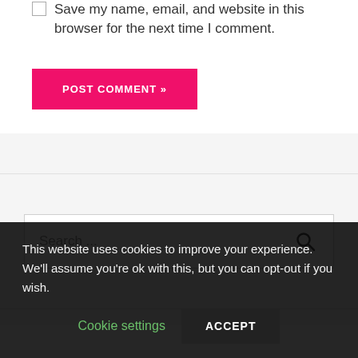Save my name, email, and website in this browser for the next time I comment.
POST COMMENT »
Search ...
This website uses cookies to improve your experience. We'll assume you're ok with this, but you can opt-out if you wish.
Cookie settings
ACCEPT